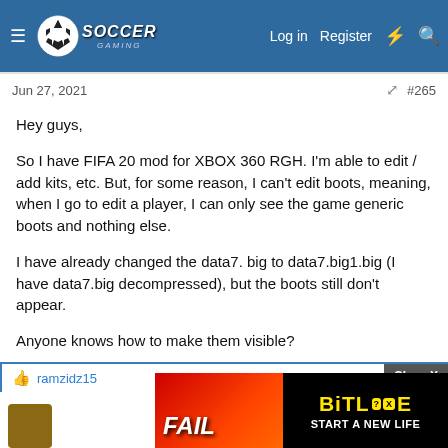Soccer Gaming — Log in | Register
Jun 27, 2021 #265
Hey guys,

So I have FIFA 20 mod for XBOX 360 RGH. I'm able to edit / add kits, etc. But, for some reason, I can't edit boots, meaning, when I go to edit a player, I can only see the game generic boots and nothing else.

I have already changed the data7. big to data7.big1.big (I have data7.big decompressed), but the boots still don't appear.

Anyone knows how to make them visible?

Thanks in advance!
ramzidz15
[Figure (screenshot): BitLife advertisement banner with FAIL text and Start a New Life tagline]